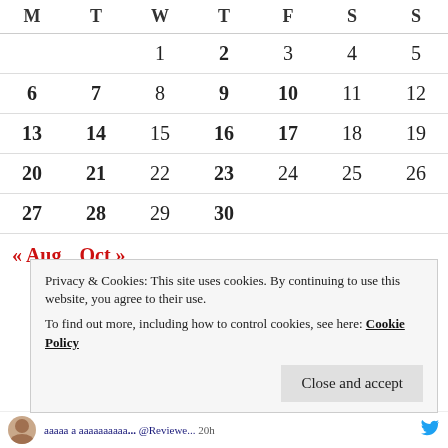| M | T | W | T | F | S | S |
| --- | --- | --- | --- | --- | --- | --- |
|  |  | 1 | 2 | 3 | 4 | 5 |
| 6 | 7 | 8 | 9 | 10 | 11 | 12 |
| 13 | 14 | 15 | 16 | 17 | 18 | 19 |
| 20 | 21 | 22 | 23 | 24 | 25 | 26 |
| 27 | 28 | 29 | 30 |  |  |  |
« Aug   Oct »
Privacy & Cookies: This site uses cookies. By continuing to use this website, you agree to their use.
To find out more, including how to control cookies, see here: Cookie Policy
Close and accept